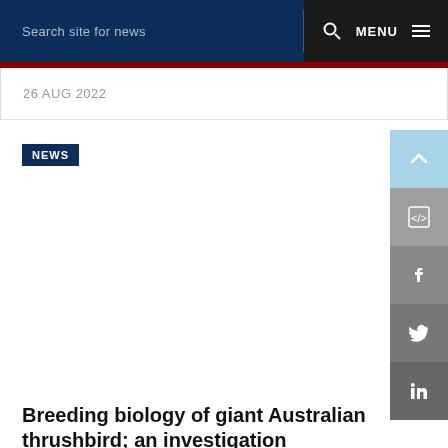Search site for news  MENU
26 AUG 2022
NEWS
[Figure (photo): Large white/blank image area placeholder for an article photo]
Breeding biology of giant Australian thrushbird; an investigation